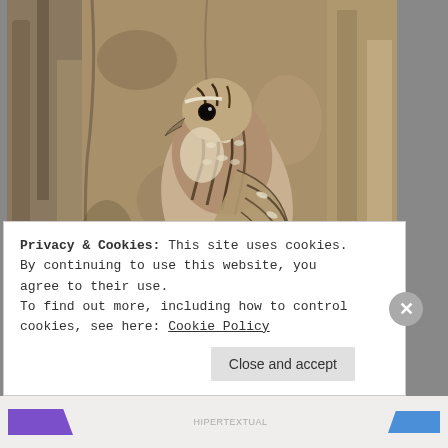[Figure (photo): A small brown and white streaked bird (treecreeper) clinging to the rough bark of a tree trunk, photographed close-up against the textured bark background.]
Privacy & Cookies: This site uses cookies. By continuing to use this website, you agree to their use.
To find out more, including how to control cookies, see here: Cookie Policy